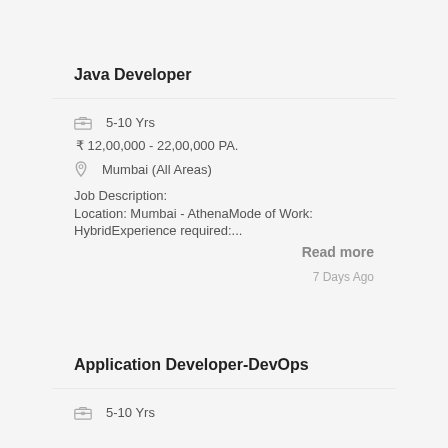Java Developer
5-10 Yrs
₹ 12,00,000 - 22,00,000 PA.
Mumbai (All Areas)
Job Description:
Location: Mumbai - AthenaMode of Work: HybridExperience required:...
Read more
7 Days Ago
Application Developer-DevOps
5-10 Yrs